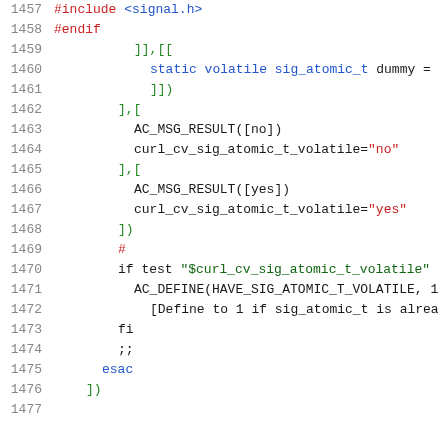Code listing lines 1457-1477 showing autoconf/shell script code